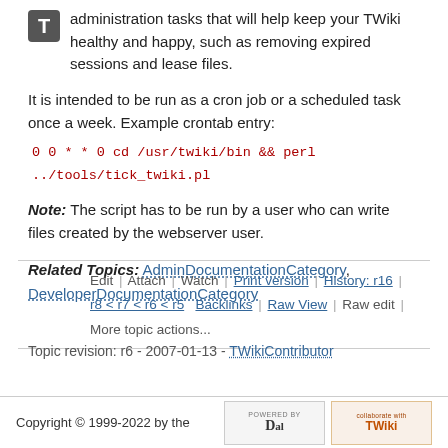administration tasks that will help keep your TWiki healthy and happy, such as removing expired sessions and lease files.
It is intended to be run as a cron job or a scheduled task once a week. Example crontab entry:
0 0 * * 0 cd /usr/twiki/bin && perl ../tools/tick_twiki.pl
Note: The script has to be run by a user who can write files created by the webserver user.
Related Topics: AdminDocumentationCategory, DeveloperDocumentationCategory
Edit | Attach | Watch | Print version | History: r16 | r8 < r7 < r6 < r5 | Backlinks | Raw View | Raw edit | More topic actions...
Topic revision: r6 - 2007-01-13 - TWikiContributor
Copyright © 1999-2022 by the